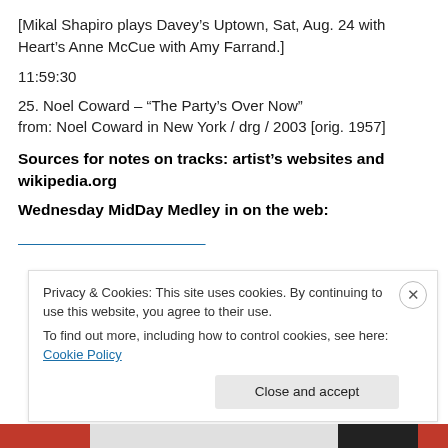[Mikal Shapiro plays Davey's Uptown, Sat, Aug. 24 with Heart's Anne McCue with Amy Farrand.]
11:59:30
25. Noel Coward – "The Party's Over Now"
from: Noel Coward in New York / drg / 2003 [orig. 1957]
Sources for notes on tracks: artist's websites and wikipedia.org
Wednesday MidDay Medley in on the web:
[cut off URL text]
Privacy & Cookies: This site uses cookies. By continuing to use this website, you agree to their use.
To find out more, including how to control cookies, see here: Cookie Policy
Close and accept